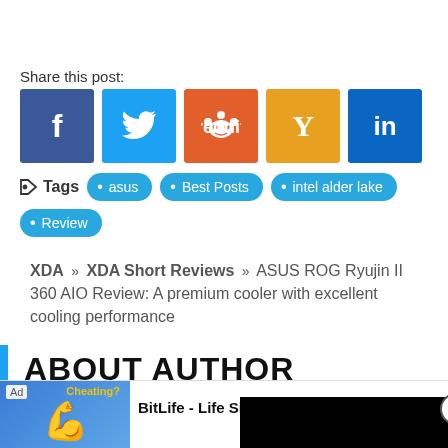Share this post:
[Figure (infographic): Social share buttons: Facebook (blue), Twitter (blue), Reddit (orange-red), Hacker News/Y Combinator (orange), LinkedIn (blue)]
Tags  asus  Best Posts  intel alder lake  Review
XDA » XDA Short Reviews » ASUS ROG Ryujin II 360 AIO Review: A premium cooler with excellent cooling performance
ABOUT AUTHOR
Karthik Iyer
Karthik covers Computing. When not at work, you will
[Figure (photo): Photo of Karthik Iyer, a young man with glasses wearing a blue-grey shirt]
[Figure (screenshot): Black video overlay panel with close button]
[Figure (infographic): Ad banner for BitLife - Life Simulator app with install button]